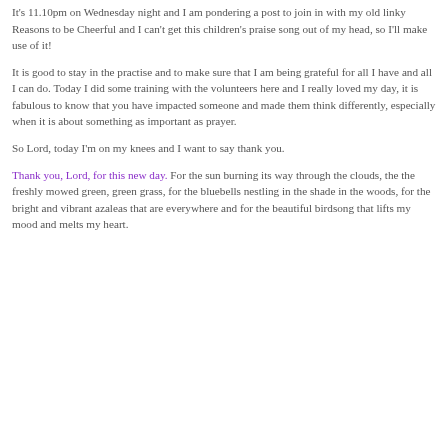It's 11.10pm on Wednesday night and I am pondering a post to join in with my old linky Reasons to be Cheerful and I can't get this children's praise song out of my head, so I'll make use of it!
It is good to stay in the practise and to make sure that I am being grateful for all I have and all I can do. Today I did some training with the volunteers here and I really loved my day, it is fabulous to know that you have impacted someone and made them think differently, especially when it is about something as important as prayer.
So Lord, today I'm on my knees and I want to say thank you.
Thank you, Lord, for this new day. For the sun burning its way through the clouds, the the freshly mowed green, green grass, for the bluebells nestling in the shade in the woods, for the bright and vibrant azaleas that are everywhere and for the beautiful birdsong that lifts my mood and melts my heart.